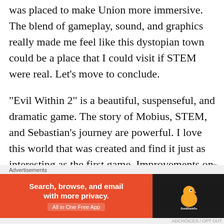was placed to make Union more immersive. The blend of gameplay, sound, and graphics really made me feel like this dystopian town could be a place that I could visit if STEM were real. Let’s move to conclude.
“Evil Within 2” is a beautiful, suspenseful, and dramatic game. The story of Mobius, STEM, and Sebastian’s journey are powerful. I love this world that was created and find it just as interesting as the first game. Improvements on dialog and voice acting were made. Improvements on gameplay along with some additions that made the game feel like a true
Advertisements
[Figure (other): DuckDuckGo advertisement banner: orange left side with text 'Search, browse, and email with more privacy. All in One Free App' and dark right side with DuckDuckGo logo (duck icon)]
ADCHOICES / OPT OUT